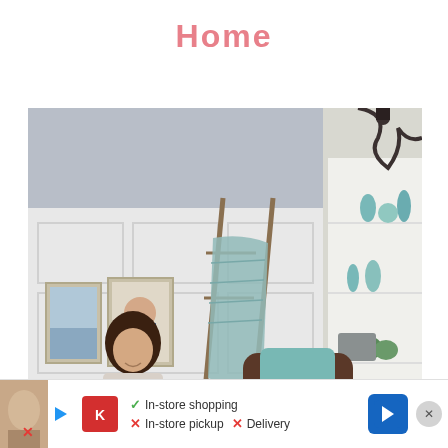Home
[Figure (photo): Interior home decor photo showing a woman sitting in a stylish living room with white wainscoting, framed photos on the wall, a decorative ladder with a teal blanket, a white built-in bookshelf with teal and gold decor items, a dark wicker chair with a teal pillow, and a black chandelier visible at top right.]
[Figure (infographic): Advertisement banner showing Kroger store info: red Kroger logo box, check mark for In-store shopping, X for In-store pickup, X for Delivery, blue navigation arrow icon, and an X close button.]